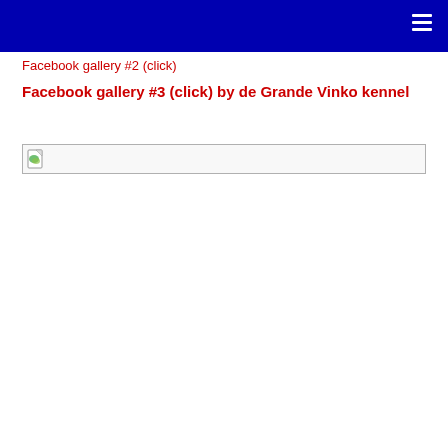Facebook gallery #2 (click)
Facebook gallery #3 (click) by de Grande Vinko kennel
[Figure (other): Broken image placeholder — a wide box with a small broken-image icon on the left]